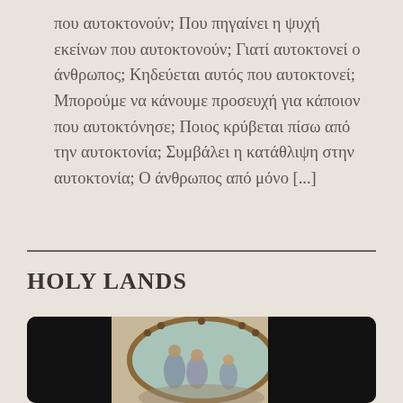που αυτοκτονούν; Που πηγαίνει η ψυχή εκείνων που αυτοκτονούν; Γιατί αυτοκτονεί ο άνθρωπος; Κηδεύεται αυτός που αυτοκτονεί; Μπορούμε να κάνουμε προσευχή για κάποιον που αυτοκτόνησε; Ποιος κρύβεται πίσω από την αυτοκτονία; Συμβάλει η κατάθλιψη στην αυτοκτονία; Ο άνθρωπος από μόνο [...]
HOLY LANDS
[Figure (photo): A religious fresco or painting shown in an arch/dome format, depicting figures in a religious scene, displayed on a dark/black screen or tablet device with black borders on both sides.]